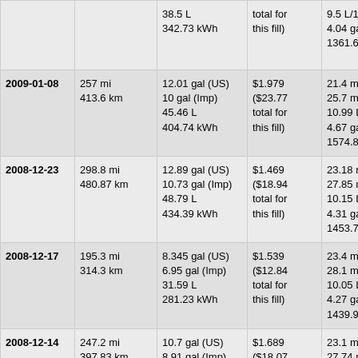| Date | Distance | Fuel | Price | Efficiency |
| --- | --- | --- | --- | --- |
|  |  | 38.5 L
342.73 kWh | total for
this fill) | 9.5 L/100 km
4.04 gal (US)/1
1361.66 Wh/mi |
| 2009-01-08 | 257 mi
413.6 km | 12.01 gal (US)
10 gal (Imp)
45.46 L
404.74 kWh | $1.979
($23.77
total for
this fill) | 21.4 mpg (US)
25.7 mpg (Imp)
10.99 L/100 km
4.67 gal (US)/1
1574.86 Wh/mi |
| 2008-12-23 | 298.8 mi
480.87 km | 12.89 gal (US)
10.73 gal (Imp)
48.79 L
434.39 kWh | $1.469
($18.94
total for
this fill) | 23.18 mpg (US)
27.85 mpg (Imp)
10.15 L/100 km
4.31 gal (US)/1
1453.78 Wh/mi |
| 2008-12-17 | 195.3 mi
314.3 km | 8.345 gal (US)
6.95 gal (Imp)
31.59 L
281.23 kWh | $1.539
($12.84
total for
this fill) | 23.4 mpg (US)
28.1 mpg (Imp)
10.05 L/100 km
4.27 gal (US)/1
1439.99 Wh/mi |
| 2008-12-14 | 247.2 mi
397.83 km | 10.7 gal (US)
8.91 gal (Imp)
40.5 L
360.59 kWh | $1.689
($18.07
total for
this fill) | 23.1 mpg (US)
27.74 mpg (Imp)
10.18 L/100 km
4.33 gal (US)/1
1458.7 Wh/mi |
| 2008-12-08 | 260.2 mi
418.75 km | 10.59 gal (US)
8.82 gal (Imp) | $1.499
($15.87 | 24.57 mpg (US)
29.5 mpg (Imp) |